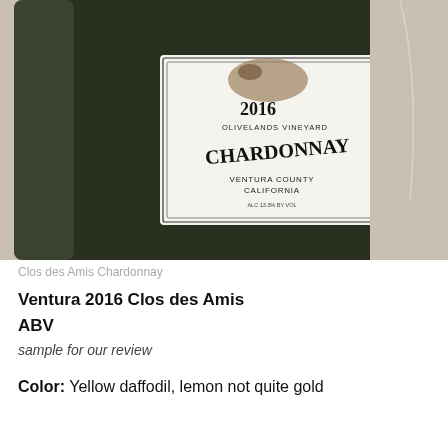[Figure (photo): Close-up photograph of a wine bottle lying on its side showing the label: 2016 Olivelands Vineyard Chardonnay, Ventura County California, ALC 13.3% BY VOL]
Clos des Amis Chardonnay
Ventura 2016 Clos des Amis
ABV
sample for our review
Color: Yellow daffodil, lemon not quite gold